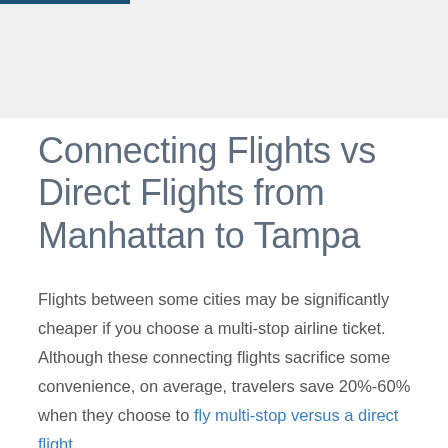Connecting Flights vs Direct Flights from Manhattan to Tampa
Flights between some cities may be significantly cheaper if you choose a multi-stop airline ticket. Although these connecting flights sacrifice some convenience, on average, travelers save 20%-60% when they choose to fly multi-stop versus a direct flight.
The average price for connecting flights from